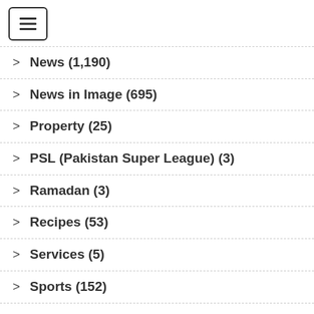[Figure (other): Hamburger menu icon button with three horizontal lines inside a rounded rectangle border]
News (1,190)
News in Image (695)
Property (25)
PSL (Pakistan Super League) (3)
Ramadan (3)
Recipes (53)
Services (5)
Sports (152)
Technology (62)